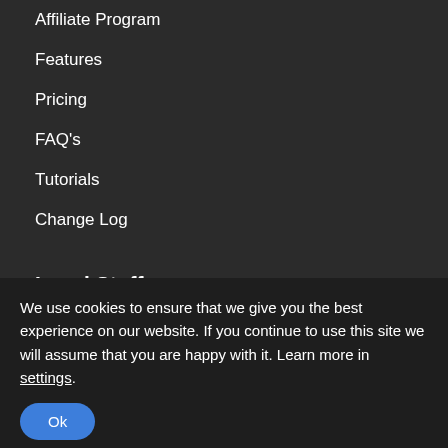Affiliate Program
Features
Pricing
FAQ's
Tutorials
Change Log
Legal Stuff
Privacy Policy
Terms of Use
We use cookies to ensure that we give you the best experience on our website. If you continue to use this site we will assume that you are happy with it. Learn more in settings.
Ok